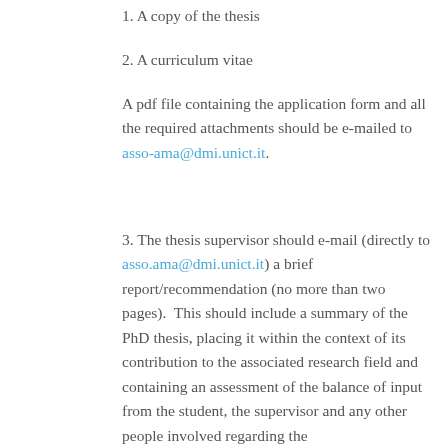1. A copy of the thesis
2. A curriculum vitae
A pdf file containing the application form and all the required attachments should be e-mailed to asso-ama@dmi.unict.it.
3. The thesis supervisor should e-mail (directly to asso.ama@dmi.unict.it) a brief report/recommendation (no more than two pages).  This should include a summary of the PhD thesis, placing it within the context of its contribution to the associated research field and containing an assessment of the balance of input from the student, the supervisor and any other people involved regarding the